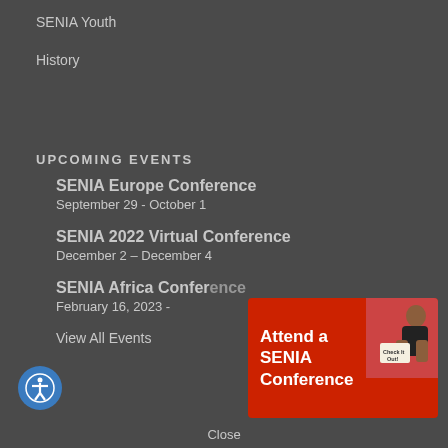SENIA Youth
History
UPCOMING EVENTS
SENIA Europe Conference
September 29 - October 1
SENIA 2022 Virtual Conference
December 2 – December 4
SENIA Africa Conference
February 16, 2023 -
View All Events
[Figure (infographic): Red banner advertisement with text 'Attend a SENIA Conference' and a photo of a child holding a sign saying 'Check It Out!']
Close